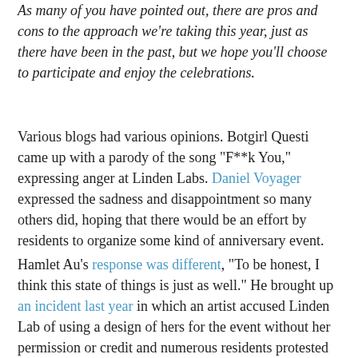As many of you have pointed out, there are pros and cons to the approach we're taking this year, just as there have been in the past, but we hope you'll choose to participate and enjoy the celebrations.
Various blogs had various opinions. Botgirl Questi came up with a parody of the song "F**k You," expressing anger at Linden Labs. Daniel Voyager expressed the sadness and disappointment so many others did, hoping that there would be an effort by residents to organize some kind of anniversary event.
Hamlet Au's response was different, "To be honest, I think this state of things is just as well." He brought up an incident last year in which an artist accused Linden Lab of using a design of hers for the event without her permission or credit and numerous residents protested in her behalf without bothering to ask for her own art to compare with what was used, "another telling illustration of Linden Lab's inevitably fractious, drama-rife relationship with its own user community … bad faith on Linden Lab's part is automatically